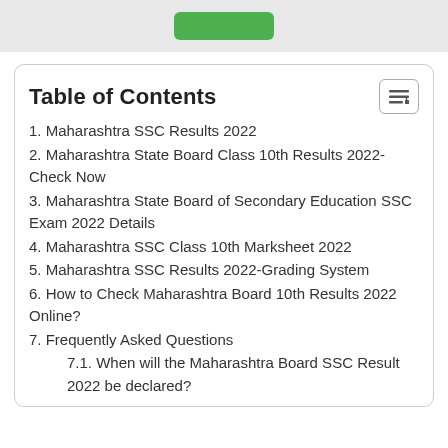[Figure (other): Top grey bar with a green button]
Table of Contents
1. Maharashtra SSC Results 2022
2. Maharashtra State Board Class 10th Results 2022- Check Now
3. Maharashtra State Board of Secondary Education SSC Exam 2022 Details
4. Maharashtra SSC Class 10th Marksheet 2022
5. Maharashtra SSC Results 2022-Grading System
6. How to Check Maharashtra Board 10th Results 2022 Online?
7. Frequently Asked Questions
7.1. When will the Maharashtra Board SSC Result 2022 be declared?